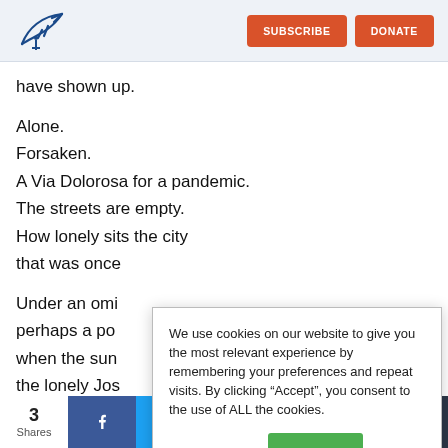Logo | SUBSCRIBE | DONATE
have shown up.
Alone.
Forsaken.
A Via Dolorosa for a pandemic.
The streets are empty.
How lonely sits the city
that was once
Under an omi
perhaps a po
when the sun
the lonely Jos
We use cookies on our website to give you the most relevant experience by remembering your preferences and repeat visits. By clicking “Accept”, you consent to the use of ALL the cookies.
3 Shares | Facebook | Twitter 1 | WhatsApp 1 | LinkedIn 1 | Email | +